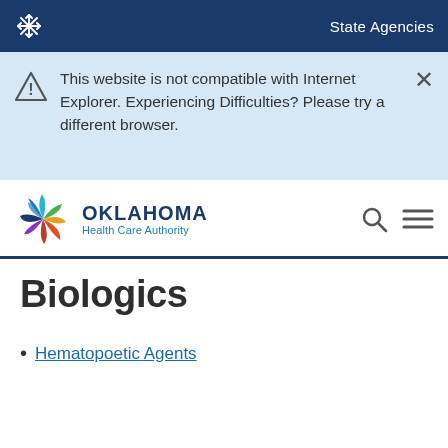State Agencies
This website is not compatible with Internet Explorer. Experiencing Difficulties? Please try a different browser.
[Figure (logo): Oklahoma Health Care Authority logo with multicolor pinwheel and text OKLAHOMA Health Care Authority]
Biologics
Hematopoetic Agents